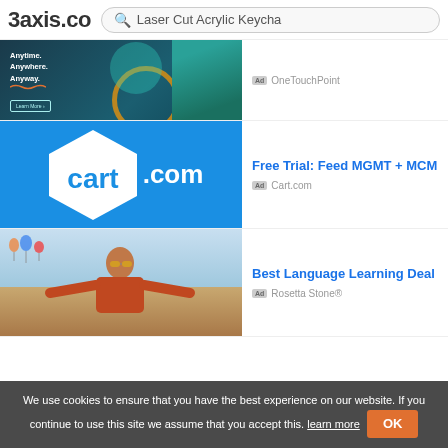3axis.co  Laser Cut Acrylic Keycha
[Figure (photo): Advertisement image: dark teal background with woman in green blouse, text 'Anywhere. Anyway.' with Learn More button]
Ad OneTouchPoint
[Figure (logo): Cart.com logo on blue background - white hexagonal shape with 'cart' in blue and '.com' in white]
Free Trial: Feed MGMT + MCM
Ad Cart.com
[Figure (photo): Advertisement photo: woman with sunglasses and arms outstretched against sky with hot air balloons]
Best Language Learning Deal
Ad Rosetta Stone®
We use cookies to ensure that you have the best experience on our website. If you continue to use this site we assume that you accept this. learn more OK